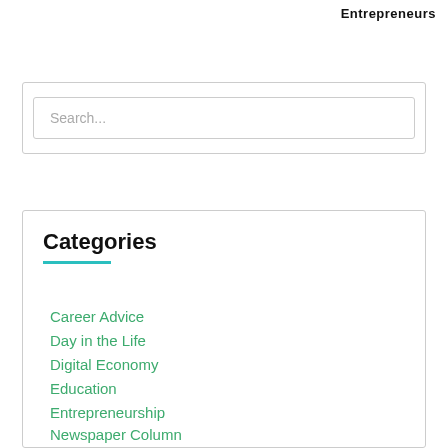Entrepreneurs
Search...
Categories
Career Advice
Day in the Life
Digital Economy
Education
Entrepreneurship
Newspaper Column
Resume and Cover Letter Advice